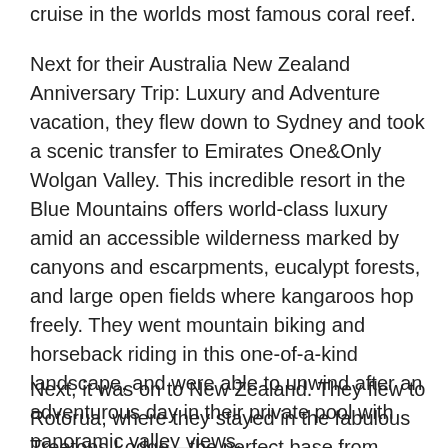cruise in the worlds most famous coral reef.
Next for their Australia New Zealand Anniversary Trip: Luxury and Adventure vacation, they flew down to Sydney and took a scenic transfer to Emirates One&Only Wolgan Valley. This incredible resort in the Blue Mountains offers world-class luxury amid an accessible wilderness marked by canyons and escarpments, eucalypt forests, and large open fields where kangaroos hop freely. They went mountain biking and horseback riding in this one-of-a-kind landscape, and were able to unwind after an adventurous day in their private pool with panoramic valley views.
Next, it was on to New Zealand. They flew to Rotorua, where they stayed in the fabulous Treetops Lodge—the perfect base from which to explore this fascinating geothermal region. They were able to tour the Kiwi